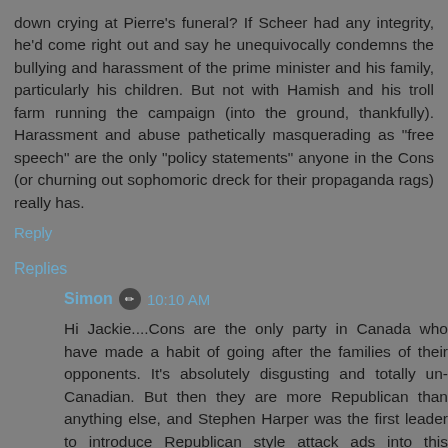down crying at Pierre's funeral? If Scheer had any integrity, he'd come right out and say he unequivocally condemns the bullying and harassment of the prime minister and his family, particularly his children. But not with Hamish and his troll farm running the campaign (into the ground, thankfully). Harassment and abuse pathetically masquerading as "free speech" are the only "policy statements" anyone in the Cons (or churning out sophomoric dreck for their propaganda rags) really has.
Reply
Replies
Simon 10:10 AM
Hi Jackie....Cons are the only party in Canada who have made a habit of going after the families of their opponents. It's absolutely disgusting and totally un-Canadian. But then they are more Republican than anything else, and Stephen Harper was the first leader to introduce Republican style attack ads into this country, so he set the tone for everything that has followed.